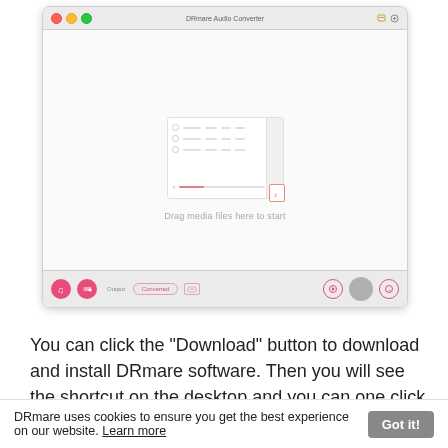[Figure (screenshot): Screenshot of DRmare Audio Converter macOS application window. Shows a mac-style window with traffic light buttons, title bar reading 'DRmare Audio Converter', an empty main area with a small inner preview showing a file list UI, a 'Drag media files here to start' placeholder message, and a bottom toolbar with pink circular buttons, output field showing 'Converted', and a gray convert button.]
You can click the "Download" button to download and install DRmare software. Then you will see the shortcut on the desktop and you can one click to
DRmare uses cookies to ensure you get the best experience on our website. Learn more   Got it!